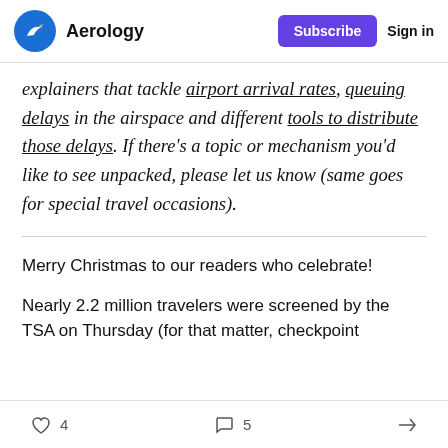Aerology | Subscribe | Sign in
explainers that tackle airport arrival rates, queuing delays in the airspace and different tools to distribute those delays. If there's a topic or mechanism you'd like to see unpacked, please let us know (same goes for special travel occasions).
Merry Christmas to our readers who celebrate!
Nearly 2.2 million travelers were screened by the TSA on Thursday (for that matter, checkpoint
4 likes  5 comments  share